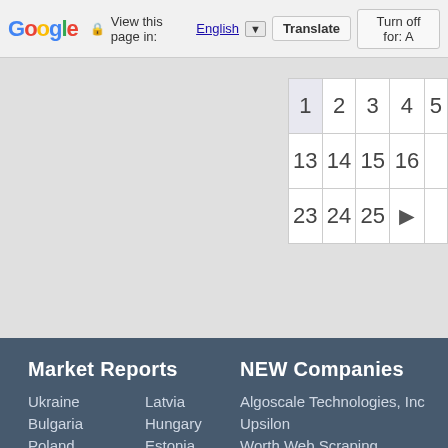Google  View this page in: English [dropdown]  Translate  Turn off for: A
| 1 | 2 | 3 | 4 | 5 |
| 13 | 14 | 15 | 16 |  |
| 23 | 24 | 25 | ► |  |
Market Reports
NEW Companies
Ukraine
Latvia
Algoscale Technologies, Inc
Bulgaria
Hungary
Upsilon
Poland
Estonia
Worth Web Scraping
Slovenia
Czech Republic
Pando Infinity